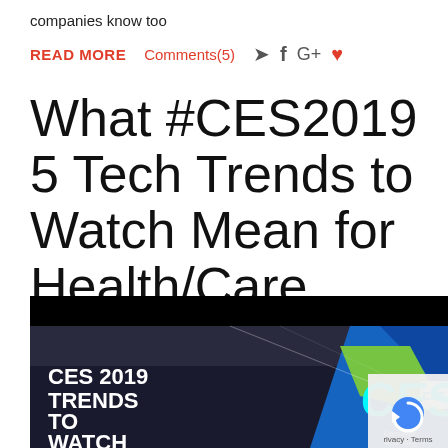companies know too
READ MORE  Comments(5)  🐦  f  G+  ♥
What #CES2019 5 Tech Trends to Watch Mean for Health/Care
[Figure (photo): CES 2019 Trends to Watch promotional image showing the CES logo on a booth display with colorful blue and green geometric shapes, with text overlay reading 'CES 2019 TRENDS TO WATCH' and Consumer Technology Association branding. A reCAPTCHA widget is visible in the bottom right corner.]